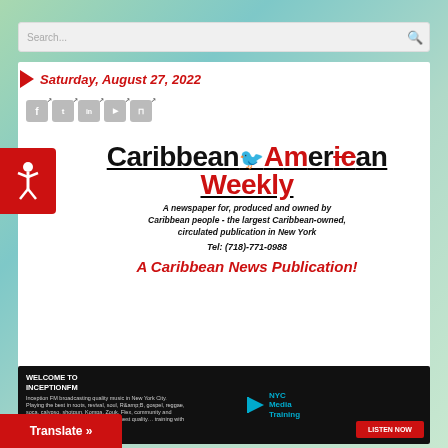Search...
Saturday, August 27, 2022
Caribbean American Weekly
A newspaper for, produced and owned by Caribbean people - the largest Caribbean-owned, circulated publication in New York
Tel: (718)-771-0988
A Caribbean News Publication!
[Figure (screenshot): WELCOME TO INCEPTIONFM banner with NYC Media Training logo and LISTEN NOW button, microphone image on black background]